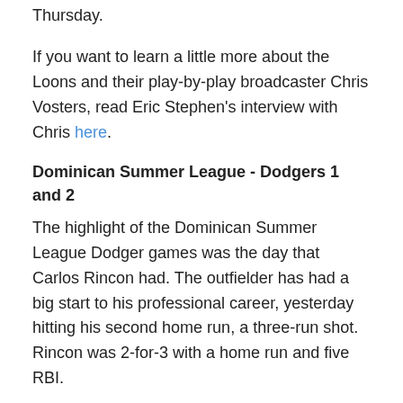Thursday.
If you want to learn a little more about the Loons and their play-by-play broadcaster Chris Vosters, read Eric Stephen's interview with Chris here.
Dominican Summer League - Dodgers 1 and 2
The highlight of the Dominican Summer League Dodger games was the day that Carlos Rincon had. The outfielder has had a big start to his professional career, yesterday hitting his second home run, a three-run shot. Rincon was 2-for-3 with a home run and five RBI.
Rincon was signed during the current international signing period, the 18-year old outfielder is listed at 6'3" and 190 lbs. In the five games that he has played